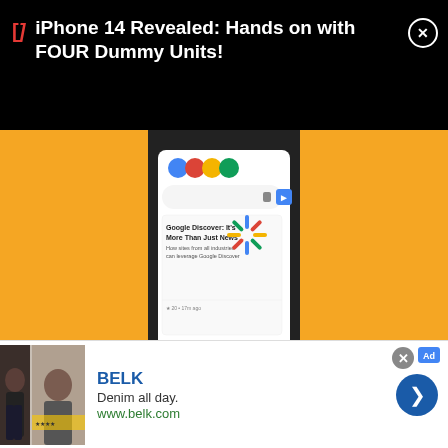iPhone 14 Revealed: Hands on with FOUR Dummy Units!
[Figure (screenshot): Screenshot of a phone screen showing Google Discover feed with Google logo icons and a card titled 'Google Discover: It's More Than Just News - How sites from all industries can leverage Google Discover', set against yellow/golden backgrounds on either side]
Full Guide to Customize Google Discover Feed with Tips and Tricks
FAQs / / News
[Figure (screenshot): Advertisement banner for BELK - Denim all day. www.belk.com, showing a woman in denim on the left image panel]